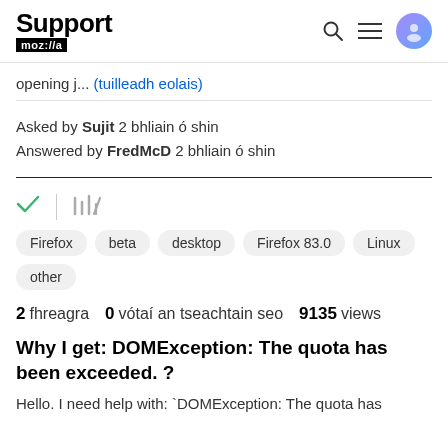Support mozilla//a
opening j... (tuilleadh eolais)
Asked by Sujit 2 bhliain ó shin
Answered by FredMcD 2 bhliain ó shin
Firefox
beta
desktop
Firefox 83.0
Linux
other
2 fhreagra   0  vótaí an tseachtain seo   9135  views
Why I get: DOMException: The quota has been exceeded. ?
Hello. I need help with: `DOMException: The quota has